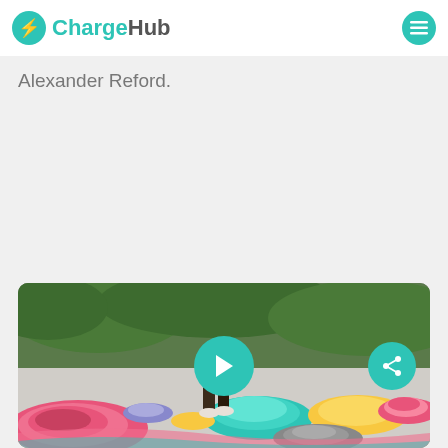ChargeHub
Alexander Reford.
[Figure (photo): Video thumbnail showing a person walking on colorful striped sculptural ground art with trees in background, with a teal play button and share button overlay]